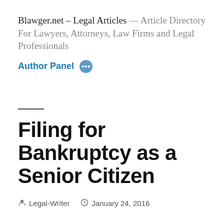Blawger.net – Legal Articles — Article Directory For Lawyers, Attorneys, Law Firms and Legal Professionals
Author Panel
Filing for Bankruptcy as a Senior Citizen
Legal-Writer   January 24, 2016